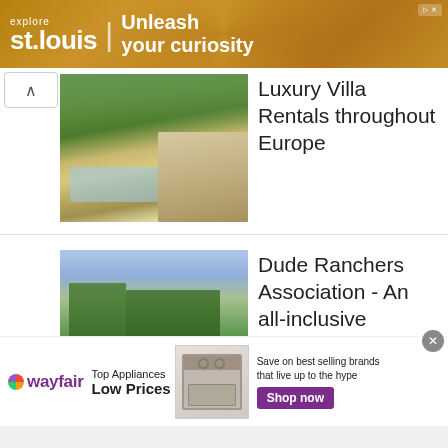[Figure (screenshot): Top banner advertisement for Explore St. Louis with text 'Unleash your curiosity' on a gold gear background]
[Figure (photo): Luxury villa with swimming pool surrounded by trees, European style]
Luxury Villa Rentals throughout Europe
[Figure (photo): Horseback riders on a mountain meadow with pine trees and mountain range in background]
Dude Ranchers Association - An all-inclusive vacation experience like no other
[Figure (screenshot): Wayfair advertisement: Top Appliances Low Prices. Save on best selling brands that live up to the hype. Shop now button.]